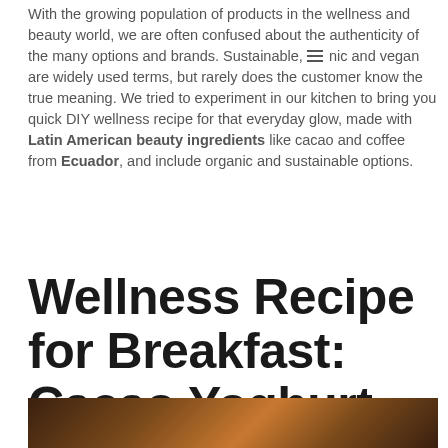With the growing population of products in the wellness and beauty world, we are often confused about the authenticity of the many options and brands. Sustainable, organic and vegan are widely used terms, but rarely does the customer know the true meaning. We tried to experiment in our kitchen to bring you quick DIY wellness recipe for that everyday glow, made with Latin American beauty ingredients like cacao and coffee from Ecuador, and include organic and sustainable options.
Wellness Recipe for Breakfast: Cacao Yoghurt
[Figure (photo): Partial view of a dark wooden surface or background, warm brown tones, bottom of the page]